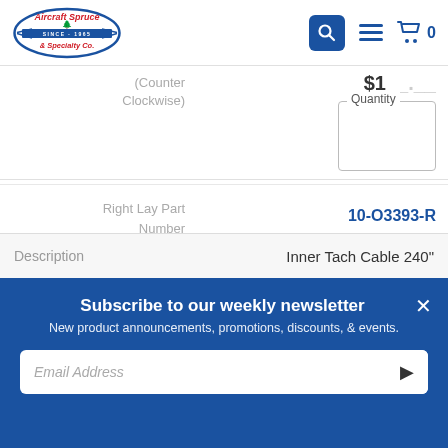[Figure (logo): Aircraft Spruce & Specialty Co. logo with airplane and tree emblem]
(Counter Clockwise)
$128.80 (price partially visible for counter clockwise item)
Quantity
Right Lay Part Number
10-O3393-R
Buy Right Lay (Clockwise)
$128.80
Quantity
Description
Inner Tach Cable 240"
Subscribe to our weekly newsletter
New product announcements, promotions, discounts, & events.
Email Address